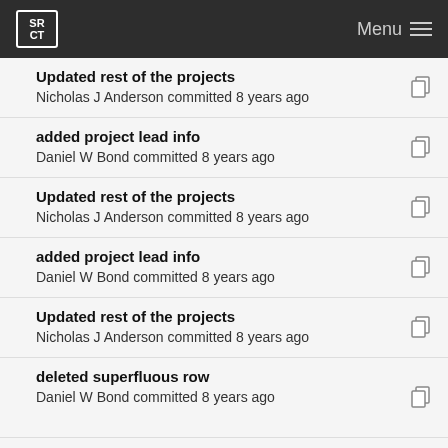SRCT Menu
Updated rest of the projects
Nicholas J Anderson committed 8 years ago
added project lead info
Daniel W Bond committed 8 years ago
Updated rest of the projects
Nicholas J Anderson committed 8 years ago
added project lead info
Daniel W Bond committed 8 years ago
Updated rest of the projects
Nicholas J Anderson committed 8 years ago
deleted superfluous row
Daniel W Bond committed 8 years ago
added maps
Daniel W Bond committed 8 years ago